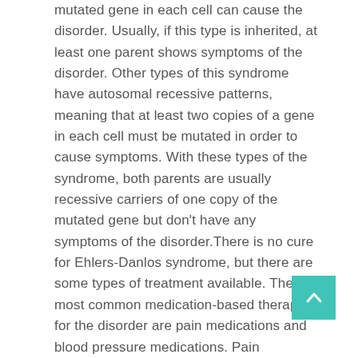mutated gene in each cell can cause the disorder. Usually, if this type is inherited, at least one parent shows symptoms of the disorder. Other types of this syndrome have autosomal recessive patterns, meaning that at least two copies of a gene in each cell must be mutated in order to cause symptoms. With these types of the syndrome, both parents are usually recessive carriers of one copy of the mutated gene but don't have any symptoms of the disorder.There is no cure for Ehlers-Danlos syndrome, but there are some types of treatment available. The most common medication-based therapy for the disorder are pain medications and blood pressure medications. Pain medications